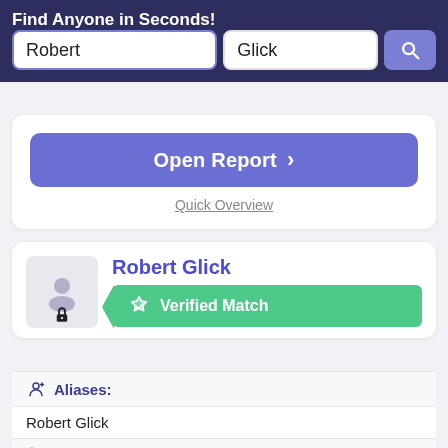Find Anyone in Seconds!
[Figure (screenshot): Search bar UI with first name input 'Robert', last name input 'Glick', and a blue search button with magnifying glass icon]
[Figure (screenshot): Blue 'Open Report >' button and 'Quick Overview' link below it]
Robert Glick
[Figure (infographic): Green 'Verified Match' badge with checkmark shield icon]
Aliases:
Robert Glick
Phone Numbers:
None found.